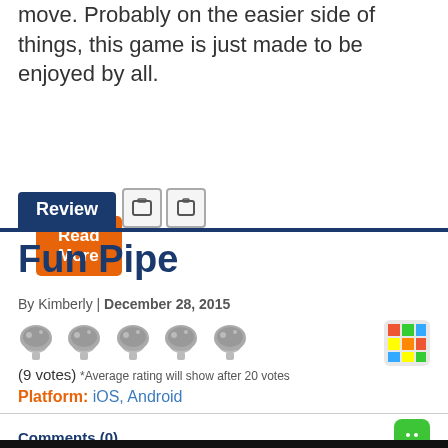move. Probably on the easier side of things, this game is just made to be enjoyed by all.
Read More
Review
Fun Pipe
By Kimberly | December 28, 2015
[Figure (illustration): Five gray mushroom rating icons and a Rubik's cube icon]
(9 votes) *Average rating will show after 20 votes
Platform: iOS, Android
Comments (0)
[Figure (screenshot): Fun Pipe game screenshot with colorful logo on dark background]